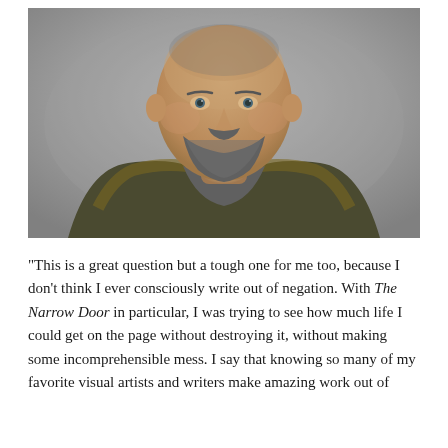[Figure (photo): Portrait photo of a middle-aged man with a shaved head and a salt-and-pepper beard, wearing a green and yellow plaid flannel shirt, against a gray background.]
“This is a great question but a tough one for me too, because I don’t think I ever consciously write out of negation. With The Narrow Door in particular, I was trying to see how much life I could get on the page without destroying it, without making some incomprehensible mess. I say that knowing so many of my favorite visual artists and writers make amazing work out of